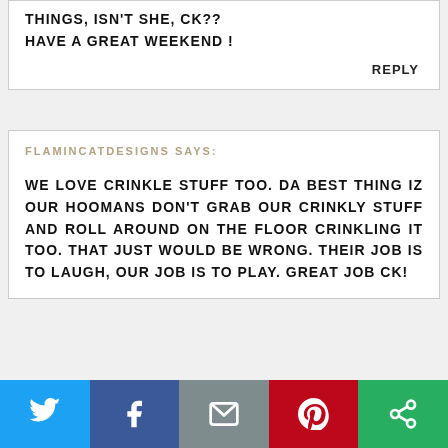THINGS, ISN'T SHE, CK?? HAVE A GREAT WEEKEND !
REPLY
FLAMINCATDESIGNS SAYS:
WE LOVE CRINKLE STUFF TOO. DA BEST THING IZ OUR HOOMANS DON'T GRAB OUR CRINKLY STUFF AND ROLL AROUND ON THE FLOOR CRINKLING IT TOO. THAT JUST WOULD BE WRONG. THEIR JOB IS TO LAUGH, OUR JOB IS TO PLAY. GREAT JOB CK!
[Figure (infographic): Social media sharing bar with Twitter, Facebook, Email, Pinterest, and other sharing icons on colored backgrounds]